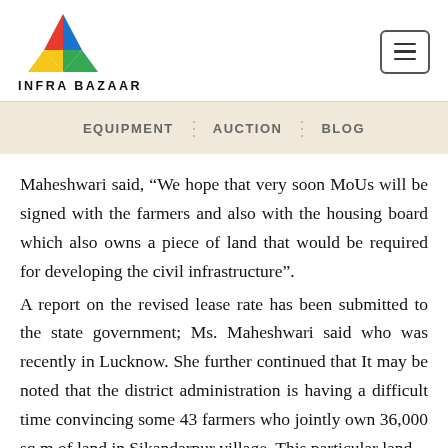INFRA BAZAAR
EQUIPMENT | AUCTION | BLOG
Maheshwari said, "We hope that very soon MoUs will be signed with the farmers and also with the housing board which also owns a piece of land that would be required for developing the civil infrastructure".
A report on the revised lease rate has been submitted to the state government; Ms. Maheshwari said who was recently in Lucknow. She further continued that It may be noted that the district administration is having a difficult time convincing some 43 farmers who jointly own 36,000 sq m of land in Sikandarpur village. This particular land